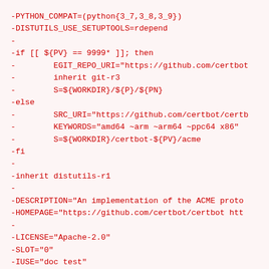-PYTHON_COMPAT=(python{3_7,3_8,3_9})
-DISTUTILS_USE_SETUPTOOLS=rdepend
-
-if [[ ${PV} == 9999* ]]; then
-        EGIT_REPO_URI="https://github.com/certbot
-        inherit git-r3
-        S=${WORKDIR}/${P}/${PN}
-else
-        SRC_URI="https://github.com/certbot/certb
-        KEYWORDS="amd64 ~arm ~arm64 ~ppc64 x86"
-        S=${WORKDIR}/certbot-${PV}/acme
-fi
-
-inherit distutils-r1
-
-DESCRIPTION="An implementation of the ACME proto
-HOMEPAGE="https://github.com/certbot/certbot htt
-
-LICENSE="Apache-2.0"
-SLOT="0"
-IUSE="doc test"